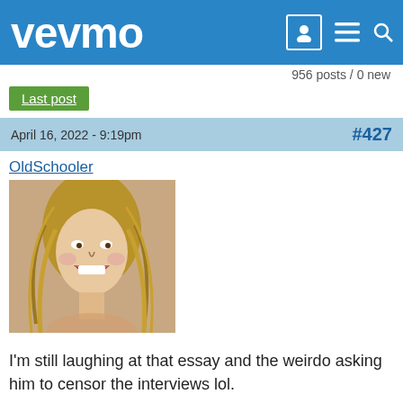vevmo
956 posts / 0 new
Last post
April 16, 2022 - 9:19pm  #427
OldSchooler
[Figure (photo): User avatar showing a cartoon/tattoo-style illustration of a woman with long blonde hair, laughing, with a painted/tattooed art style]
I'm still laughing at that essay and the weirdo asking him to censor the interviews lol.
Top   Log in or register to post comments
April 16, 2022 - 10:31pm (Reply to #427)  #428